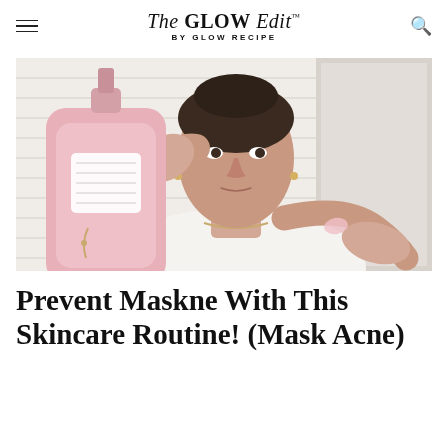The GLOW Edit™ BY GLOW RECIPE
[Figure (photo): A young woman in a white top holding up a pink bottle of skincare product and dispensing it into her other hand, filmed in a bathroom-like setting with white shiplap walls.]
Prevent Maskne With This Skincare Routine! (Mask Acne)